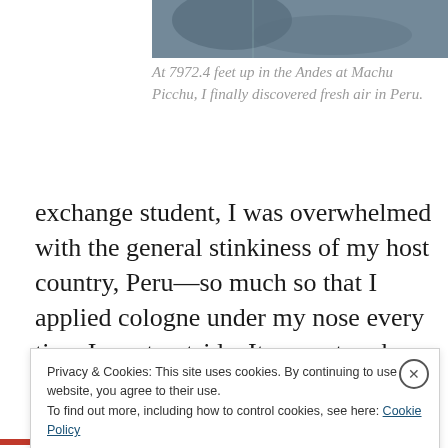[Figure (photo): Partial photo of people at Machu Picchu in the Andes, cropped at top of page]
At 7972.4 feet up in the Andes at Machu Picchu, I finally discovered fresh air in Peru.
exchange student, I was overwhelmed with the general stinkiness of my host country, Peru—so much so that I applied cologne under my nose every time I went outside. It was a tough decision every day: Do I reek of Hai Karate
Privacy & Cookies: This site uses cookies. By continuing to use this website, you agree to their use.
To find out more, including how to control cookies, see here: Cookie Policy
Close and accept